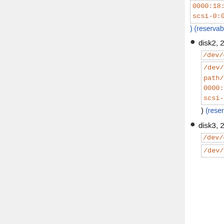path/pci-0000:18:00.0-scsi-0:0:1:0 ) (reservable)
disk2, 2.0 TB HDD SAS Seagate ST2000NX0463 (dev: /dev/disk2 *, by-path: /dev/disk/by-path/pci-0000:18:00.0-scsi-0:0:2:0 ) (reservable)
disk3, 2.0 TB HDD SAS Seagate ST2000NX0463 (dev: /dev/disk3 *, by-path: /dev/disk/by-